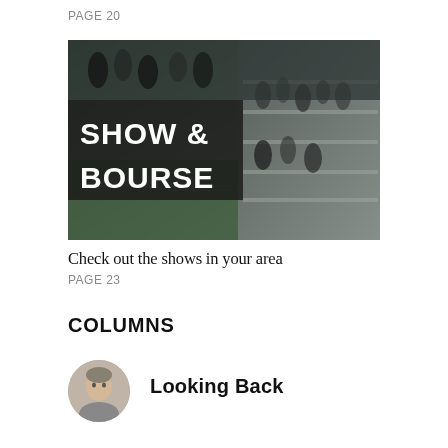PAGE 20
[Figure (photo): Crowded coin show and bourse floor with many people browsing tables, overlaid with large white text reading SHOW & BOURSE on a dark background panel]
Check out the shows in your area
PAGE 23
COLUMNS
[Figure (photo): Circular portrait photo of a man]
Looking Back